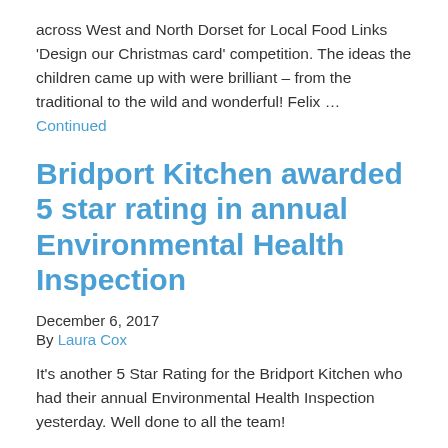across West and North Dorset for Local Food Links 'Design our Christmas card' competition. The ideas the children came up with were brilliant – from the traditional to the wild and wonderful! Felix … Continued
Bridport Kitchen awarded 5 star rating in annual Environmental Health Inspection
December 6, 2017
By Laura Cox
It's another 5 Star Rating for the Bridport Kitchen who had their annual Environmental Health Inspection yesterday. Well done to all the team!
Local Food Links serves up